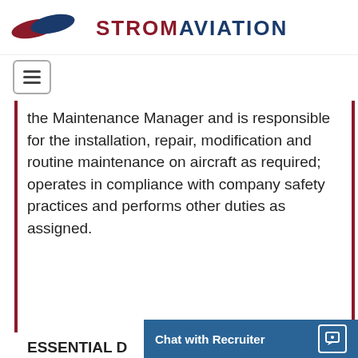[Figure (logo): Strom Aviation logo with red and blue wing shapes and company name text]
[Figure (other): Hamburger menu button icon]
the Maintenance Manager and is responsible for the installation, repair, modification and routine maintenance on aircraft as required; operates in compliance with company safety practices and performs other duties as assigned.
ESSENTIAL D
[Figure (other): Chat with Recruiter button overlay]